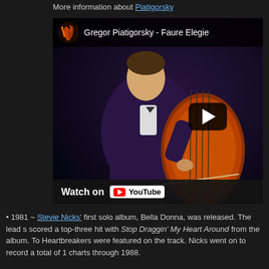More information about Piatigorsky
[Figure (screenshot): YouTube video embed showing Gregor Piatigorsky playing cello, titled 'Gregor Piatigorsky - Faure Elegie', with a play button overlay and 'Watch on YouTube' bar at the bottom.]
1981 ~ Stevie Nicks' first solo album, Bella Donna, was released. The lead s scored a top-three hit with Stop Draggin' My Heart Around from the album. To Heartbreakers were featured on the track. Nicks went on to record a total of 1 charts through 1988.